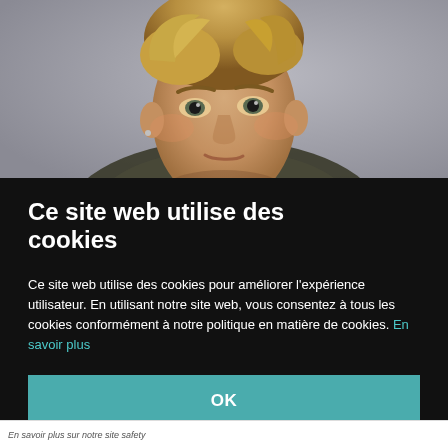[Figure (photo): Portrait photo of a young man with blond hair against a grey background, looking intensely at the camera.]
Ce site web utilise des cookies
Ce site web utilise des cookies pour améliorer l'expérience utilisateur. En utilisant notre site web, vous consentez à tous les cookies conformément à notre politique en matière de cookies. En savoir plus
OK
En savoir plus sur notre site safety